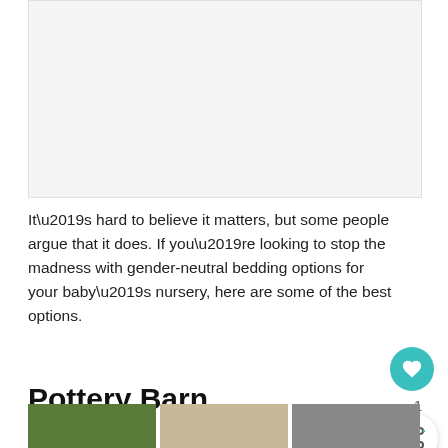[Figure (other): Advertisement or image placeholder area with light gray background]
It’s hard to believe it matters, but some people argue that it does. If you’re looking to stop the madness with gender-neutral bedding options for your baby’s nursery, here are some of the best options.
Pottery Barn
[Figure (photo): Three thumbnail images at the bottom of the page showing various scenes]